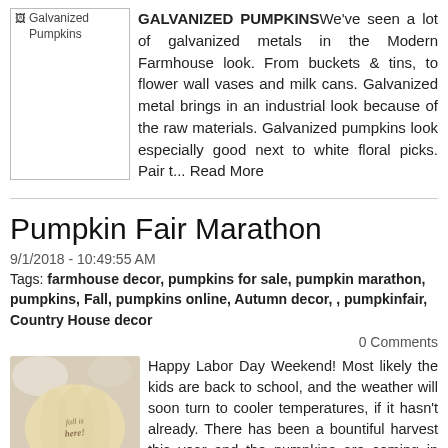[Figure (photo): Placeholder image labeled 'Galvanized Pumpkins']
GALVANIZED PUMPKINSWe've seen a lot of galvanized metals in the Modern Farmhouse look. From buckets & tins, to flower wall vases and milk cans. Galvanized metal brings in an industrial look because of the raw materials. Galvanized pumpkins look especially good next to white floral picks. Pair t... Read More
Pumpkin Fair Marathon
9/1/2018 - 10:49:55 AM
Tags: farmhouse decor, pumpkins for sale, pumpkin marathon, pumpkins, Fall, pumpkins online, Autumn decor, , pumpkinfair, Country House decor
0 Comments
[Figure (photo): Photo of a cream/white pumpkin with 'fall is here!' lettering on it]
Happy Labor Day Weekend! Most likely the kids are back to school, and the weather will soon turn to cooler temperatures, if it hasn't already. There has been a bountiful harvest this year and the pumpkins are coming in ripe